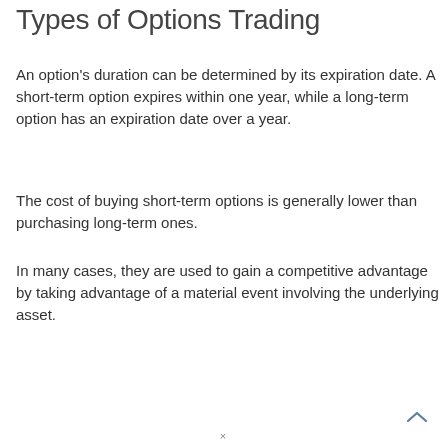Types of Options Trading
An option's duration can be determined by its expiration date. A short-term option expires within one year, while a long-term option has an expiration date over a year.
The cost of buying short-term options is generally lower than purchasing long-term ones.
In many cases, they are used to gain a competitive advantage by taking advantage of a material event involving the underlying asset.